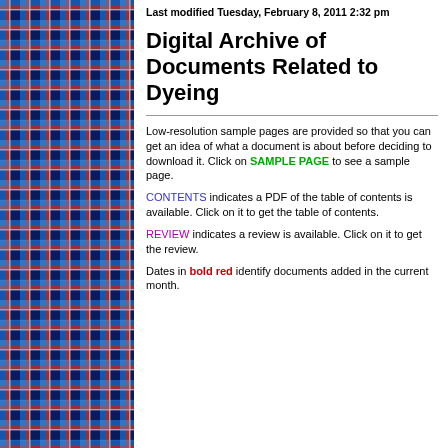[Figure (illustration): Plaid tartan fabric pattern in blue, red, white, and dark navy colors forming a decorative left column border]
Last modified Tuesday, February 8, 2011 2:32 pm
Digital Archive of Documents Related to Dyeing
Low-resolution sample pages are provided so that you can get an idea of what a document is about before deciding to download it. Click on SAMPLE PAGE to see a sample page.
CONTENTS indicates a PDF of the table of contents is available. Click on it to get the table of contents.
REVIEW indicates a review is available. Click on it to get the review.
Dates in bold red identify documents added in the current month.